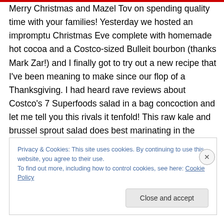Merry Christmas and Mazel Tov on spending quality time with your families! Yesterday we hosted an impromptu Christmas Eve complete with homemade hot cocoa and a Costco-sized Bulleit bourbon (thanks Mark Zar!) and I finally got to try out a new recipe that I've been meaning to make since our flop of a Thanksgiving. I had heard rave reviews about Costco's 7 Superfoods salad in a bag concoction and let me tell you this rivals it tenfold! This raw kale and brussel sprout salad does best marinating in the dressing a few hours before serving. I also threw in some
Privacy & Cookies: This site uses cookies. By continuing to use this website, you agree to their use.
To find out more, including how to control cookies, see here: Cookie Policy